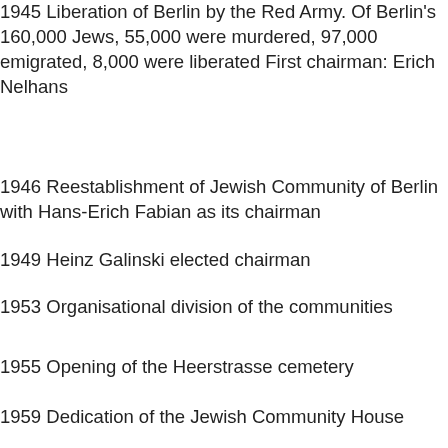1945 Liberation of Berlin by the Red Army. Of Berlin's 160,000 Jews, 55,000 were murdered, 97,000 emigrated, 8,000 were liberated First chairman: Erich Nelhans
1946 Reestablishment of Jewish Community of Berlin with Hans-Erich Fabian as its chairman
1949 Heinz Galinski elected chairman
1953 Organisational division of the communities
1955 Opening of the Heerstrasse cemetery
1959 Dedication of the Jewish Community House
1962 Reestablishment of Berlin's Jewish adult education (Volkshochschule)
1971 Jubilee commemorating the 300th anniversary of the Jewish Community of Berlin: "Agreement of Common Interest" between the Jewish Community and the State is reached 1980 Immigration limits set
Starting in 1971, about 3,000 Soviet Jews settle in Berlin
1986 Opening of the Jewish Elementary School